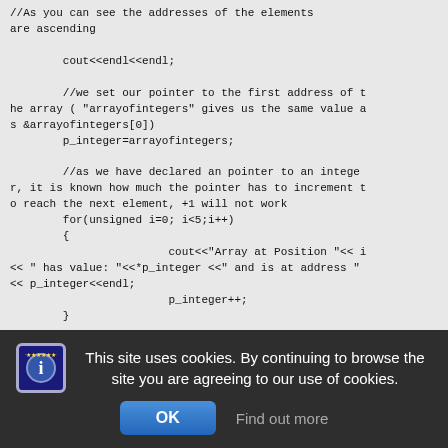//As you can see the addresses of the elements are ascending

        cout<<endl<<endl;

        //we set our pointer to the first address of the array ( "arrayofintegers" gives us the same value as &arrayofintegers[0])
        p_integer=arrayofintegers;

        //as we have declared an pointer to an integer, it is known how much the pointer has to increment to reach the next element, +1 will not work
        for(unsigned i=0; i<5;i++)
        {
                        cout<<"Array at Position "<< i << " has value: "<<*p_integer <<" and is at address " << p_integer<<endl;
                        p_integer++;
        }
This site uses cookies. By continuing to browse the site you are agreeing to our use of cookies.